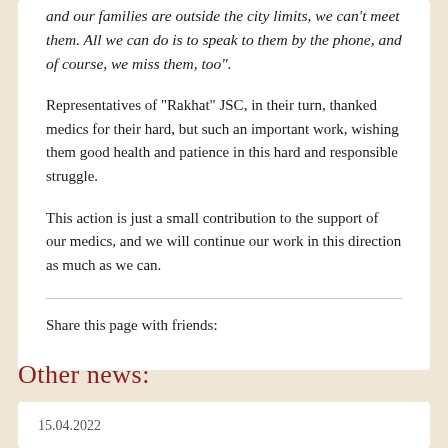and our families are outside the city limits, we can't meet them. All we can do is to speak to them by the phone, and of course, we miss them, too”.
Representatives of “Rakhat” JSC, in their turn, thanked medics for their hard, but such an important work, wishing them good health and patience in this hard and responsible struggle.
This action is just a small contribution to the support of our medics, and we will continue our work in this direction as much as we can.
Share this page with friends:
Other news:
15.04.2022